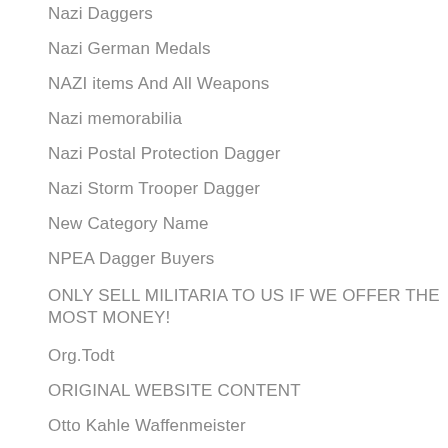Nazi Dagger Free Valuation
Nazi Daggers
Nazi German Medals
NAZI items And All Weapons
Nazi memorabilia
Nazi Postal Protection Dagger
Nazi Storm Trooper Dagger
New Category Name
NPEA Dagger Buyers
ONLY SELL MILITARIA TO US IF WE OFFER THE MOST MONEY!
Org.Todt
ORIGINAL WEBSITE CONTENT
Otto Kahle Waffenmeister
P D Luneschloss.